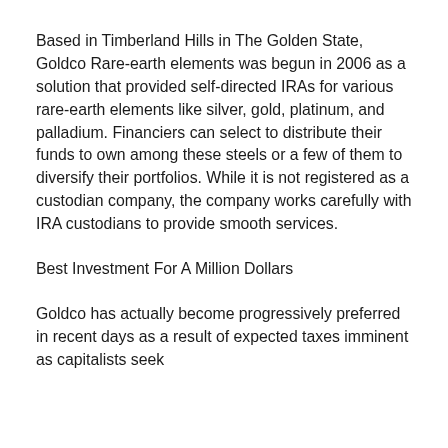Based in Timberland Hills in The Golden State, Goldco Rare-earth elements was begun in 2006 as a solution that provided self-directed IRAs for various rare-earth elements like silver, gold, platinum, and palladium. Financiers can select to distribute their funds to own among these steels or a few of them to diversify their portfolios. While it is not registered as a custodian company, the company works carefully with IRA custodians to provide smooth services.
Best Investment For A Million Dollars
Goldco has actually become progressively preferred in recent days as a result of expected taxes imminent as capitalists seek